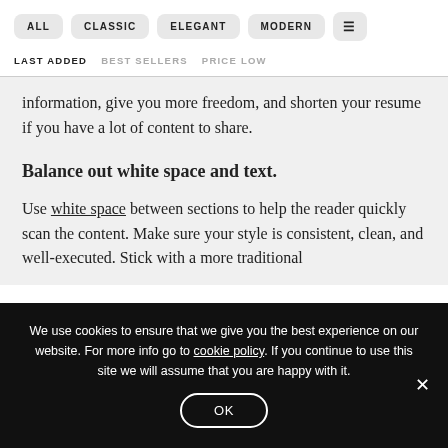ALL  CLASSIC  ELEGANT  MODERN  ≡
LAST ADDED  BEST SELLERS  PRICE LOW
information, give you more freedom, and shorten your resume if you have a lot of content to share.
Balance out white space and text.
Use white space between sections to help the reader quickly scan the content. Make sure your style is consistent, clean, and well-executed. Stick with a more traditional
We use cookies to ensure that we give you the best experience on our website. For more info go to cookie policy. If you continue to use this site we will assume that you are happy with it.
OK